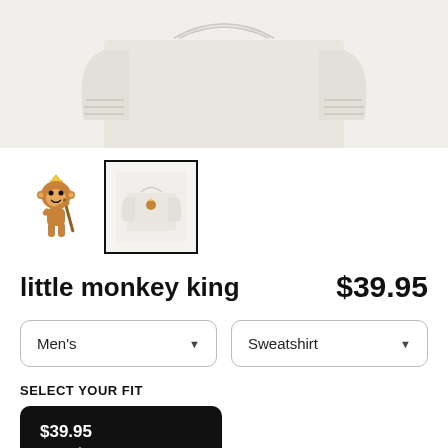[Figure (photo): Top portion of a light gray sweatshirt folded, showing the collar and sleeves area against white background]
[Figure (illustration): Small cartoon monkey king character icon (thumbnail)]
[Figure (photo): Thumbnail of light gray sweatshirt with monkey king design, selected with black border]
little monkey king
$39.95
Men's
Sweatshirt
SELECT YOUR FIT
$39.95
French Terry